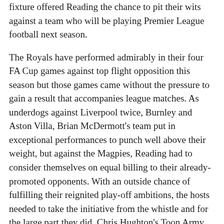fixture offered Reading the chance to pit their wits against a team who will be playing Premier League football next season.
The Royals have performed admirably in their four FA Cup games against top flight opposition this season but those games came without the pressure to gain a result that accompanies league matches. As underdogs against Liverpool twice, Burnley and Aston Villa, Brian McDermott's team put in exceptional performances to punch well above their weight, but against the Magpies, Reading had to consider themselves on equal billing to their already-promoted opponents. With an outside chance of fulfilling their reignited play-off ambitions, the hosts needed to take the initiative from the whistle and for the large part they did. Chris Hughton's Toon Army were on the back foot for considerable periods, but they were still able to demonstrate the qualities that have seen them earn a return to the Premier League at the first time of asking. Some last ditch defending and a willingness to go the extra mile to get a block on the ball kept Steve Harper relatively quiet in